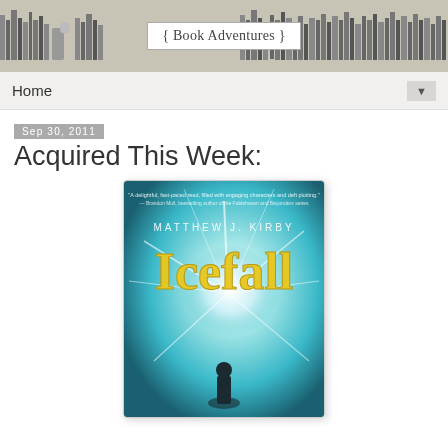{ Book Adventures }
Home ▼
Sep 30, 2011
Acquired This Week:
[Figure (illustration): Book cover of 'Icefall' by Matthew J. Kirby. Teal/blue glowing background with bright white light burst, dark silhouette figure in foreground. Yellow gothic-style title 'Icefall' in the center. Author name 'MATTHEW J. KIRBY' at top in white letters. A blurb quote at the very top in small text.]